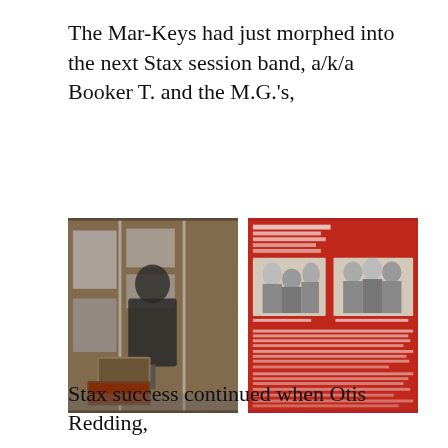The Mar-Keys had just morphed into the next Stax session band, a/k/a Booker T. and the M.G.'s,
[Figure (photo): Museum exhibit display showing a vintage jacket on a mannequin, music equipment including amplifier and an open case, surrounded by black and white photographs on a brick-patterned wall background.]
[Figure (photo): Red exhibit panel featuring black and white photographs of music groups, with text descriptions. Left photo shows a group portrait of several people, right photo shows another group portrait of musicians.]
Stax success continued when Otis Redding,